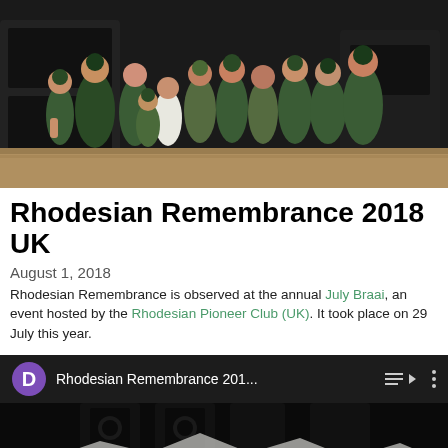[Figure (photo): Group photo of approximately 15 people wearing green jackets and t-shirts, standing outdoors on sandy/dirt ground with dark equipment in background]
Rhodesian Remembrance 2018 UK
August 1, 2018
Rhodesian Remembrance is observed at the annual July Braai, an event hosted by the Rhodesian Pioneer Club (UK). It took place on 29 July this year.
[Figure (screenshot): YouTube video thumbnail showing 'Rhodesian Remembrance 201...' with channel icon D in purple circle, playlist and menu icons in top bar, dark tent/stage scene below]